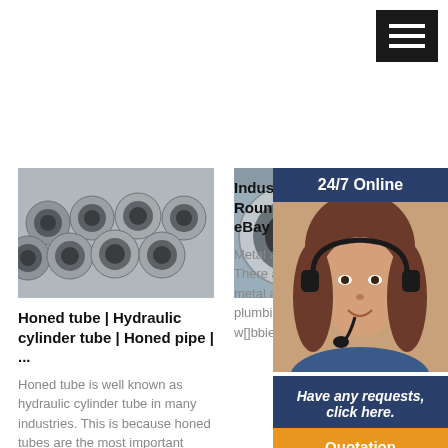[Figure (other): Hamburger menu icon, dark background, three white horizontal lines]
[Figure (photo): Stack of metal honed tubes / hydraulic cylinder pipes viewed from the ends, industrial setting]
Honed tube | Hydraulic cylinder tube | Honed pipe | ...
Honed tube is well known as hydraulic cylinder tube in many industries. This is because honed tubes are the most important mat[] hydraulic cylinders.And as
[Figure (photo): Large industrial metal round tubes in a warehouse/factory setting]
[Figure (photo): Customer service representative woman wearing headset, smiling, with 24/7 Online overlay panel]
Industrial Me Round Tubes eBay
Metal and Alloy There are many metal and alloy tubes, including plumbing and construction, along w[]bbies and craft use,